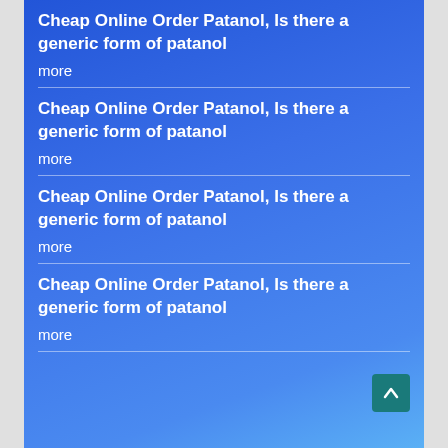Cheap Online Order Patanol, Is there a generic form of patanol
more
Cheap Online Order Patanol, Is there a generic form of patanol
more
Cheap Online Order Patanol, Is there a generic form of patanol
more
Cheap Online Order Patanol, Is there a generic form of patanol
more